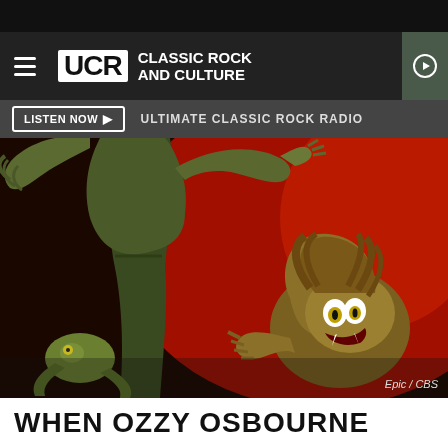UCR CLASSIC ROCK AND CULTURE
LISTEN NOW ▶   ULTIMATE CLASSIC ROCK RADIO
[Figure (illustration): Fantasy horror illustration showing a demonic creature with greenish skin on a red background, album art style]
Epic / CBS
WHEN OZZY OSBOURNE